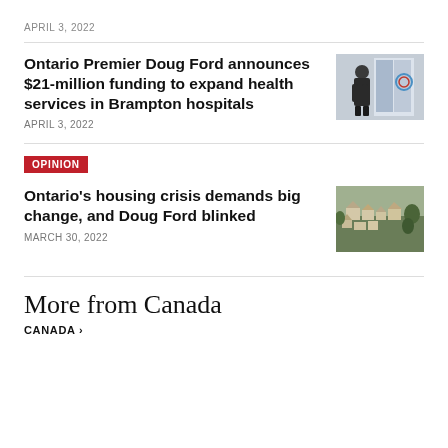APRIL 3, 2022
Ontario Premier Doug Ford announces $21-million funding to expand health services in Brampton hospitals
APRIL 3, 2022
[Figure (photo): Person standing near banners at a hospital announcement event]
OPINION
Ontario's housing crisis demands big change, and Doug Ford blinked
MARCH 30, 2022
[Figure (photo): Aerial view of suburban housing development]
More from Canada
CANADA >